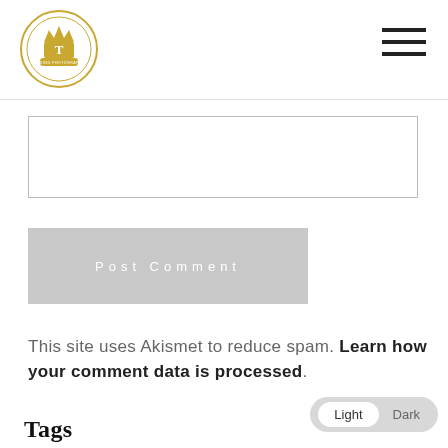[Logo] [Hamburger menu]
[Figure (logo): Circular gold emblem logo with decorative text]
[Input text field]
Post Comment
This site uses Akismet to reduce spam. Learn how your comment data is processed.
Tags
Destination Wedding Photographer
Celebrity Wedding Photographer